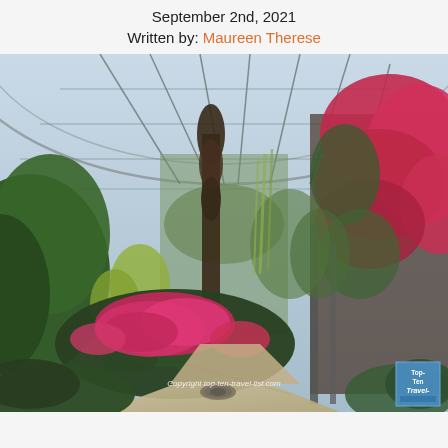September 2nd, 2021
Written by: Maureen Therese
[Figure (photo): Interior of a large greenhouse with a glass arched ceiling. Lush tropical plants, tall conifer-like trees, and vibrant magenta/pink flowering plants fill the space. A curved walking path leads through the conservatory. Bright pink bougainvillea-type flowers cascade from the right wall. Copyright top-ten-travel-list.com watermark visible, with Top Ten Travel logo badge in lower right corner.]